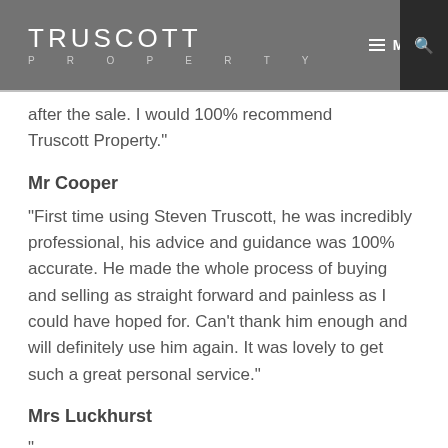[Figure (logo): Truscott Property logo with navigation menu bar in grey background]
after the sale. I would 100% recommend Truscott Property."
Mr Cooper
"First time using Steven Truscott, he was incredibly professional, his advice and guidance was 100% accurate. He made the whole process of buying and selling as straight forward and painless as I could have hoped for. Can't thank him enough and will definitely use him again. It was lovely to get such a great personal service."
Mrs Luckhurst
"...